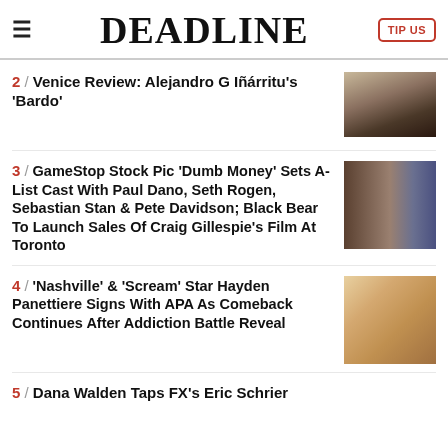DEADLINE
2 / Venice Review: Alejandro G Iñárritu's 'Bardo'
3 / GameStop Stock Pic 'Dumb Money' Sets A-List Cast With Paul Dano, Seth Rogen, Sebastian Stan & Pete Davidson; Black Bear To Launch Sales Of Craig Gillespie's Film At Toronto
4 / 'Nashville' & 'Scream' Star Hayden Panettiere Signs With APA As Comeback Continues After Addiction Battle Reveal
5 / Dana Walden Taps FX's Eric Schrier